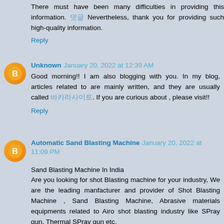There must have been many difficulties in providing this information. 댓글 Nevertheless, thank you for providing such high-quality information.
Reply
Unknown January 20, 2022 at 12:39 AM
Good morning!! I am also blogging with you. In my blog, articles related to are mainly written, and they are usually called 바카라사이트. If you are curious about , please visit!!
Reply
Automatic Sand Blasting Machine January 20, 2022 at 11:09 PM
Sand Blasting Machine In India
Are you looking for shot Blasting machine for your industry, We are the leading manfacturer and provider of Shot Blasting Machine , Sand Blasting Machine, Abrasive materials equipments related to Airo shot blasting industry like SPray gun, Thermal SPray gun etc.